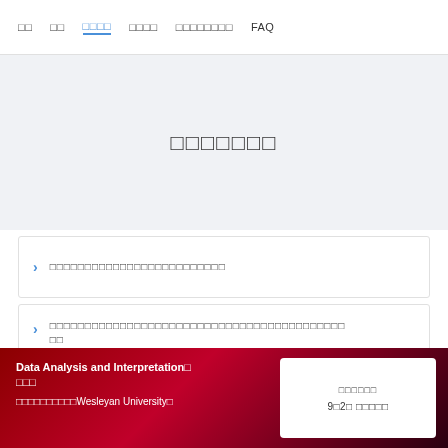□□  □□  □□□□  □□□□  □□□□□□□□  FAQ
□□□□□□□
□□□□□□□□□□□□□□□□□□□□□□□□□
□□□□□□□□□□□□□□□□□□□□□□□□□□□□□□□□□□□□□□□□□□
Data Analysis and Interpretation□ □□□
□□□□□□□□□□Wesleyan University□
□□□□□□
9□2□ □□□□□